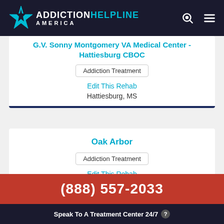ADDICTION HELPLINE AMERICA
G.V. Sonny Montgomery VA Medical Center - Hattiesburg CBOC
Addiction Treatment
Edit This Rehab
Hattiesburg, MS
Oak Arbor
Addiction Treatment
Edit This Rehab
(888) 557-2033
Speak To A Treatment Center 24/7